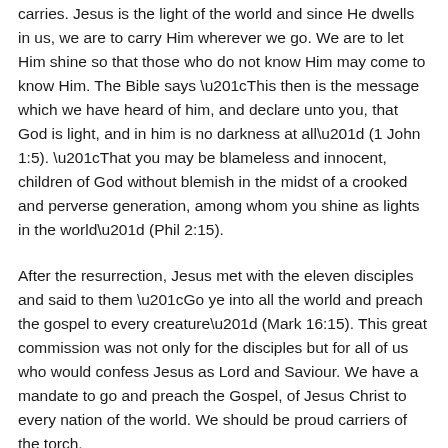carries. Jesus is the light of the world and since He dwells in us, we are to carry Him wherever we go. We are to let Him shine so that those who do not know Him may come to know Him. The Bible says “This then is the message which we have heard of him, and declare unto you, that God is light, and in him is no darkness at all” (1 John 1:5). “That you may be blameless and innocent, children of God without blemish in the midst of a crooked and perverse generation, among whom you shine as lights in the world” (Phil 2:15).
After the resurrection, Jesus met with the eleven disciples and said to them “Go ye into all the world and preach the gospel to every creature” (Mark 16:15). This great commission was not only for the disciples but for all of us who would confess Jesus as Lord and Saviour. We have a mandate to go and preach the Gospel, of Jesus Christ to every nation of the world. We should be proud carriers of the torch.
During the Olympic Games, we make time to attend or watch